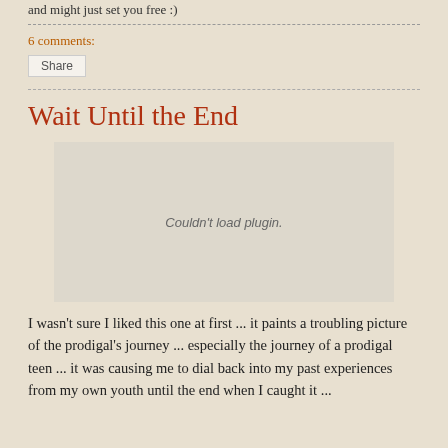and might just set you free :)
6 comments:
Share
Wait Until the End
[Figure (other): Embedded plugin area showing 'Couldn't load plugin.']
I wasn't sure I liked this one at first ... it paints a troubling picture of the prodigal's journey ... especially the journey of a prodigal teen ... it was causing me to dial back into my past experiences from my own youth until the end when I caught it ...